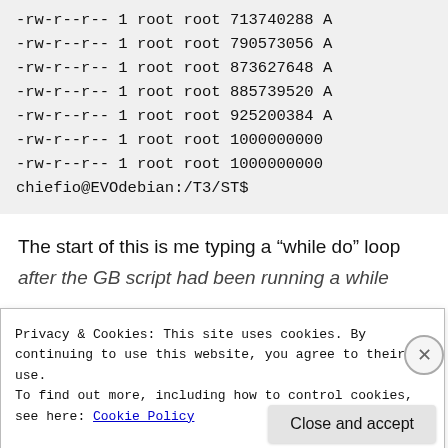-rw-r--r-- 1 root root 713740288 A
-rw-r--r-- 1 root root 790573056 A
-rw-r--r-- 1 root root 873627648 A
-rw-r--r-- 1 root root 885739520 A
-rw-r--r-- 1 root root 925200384 A
-rw-r--r-- 1 root root 1000000000
-rw-r--r-- 1 root root 1000000000
chiefio@EVOdebian:/T3/ST$
The start of this is me typing a “while do” loop
after the GB script had been running a while
Privacy & Cookies: This site uses cookies. By continuing to use this website, you agree to their use.
To find out more, including how to control cookies, see here: Cookie Policy
Close and accept